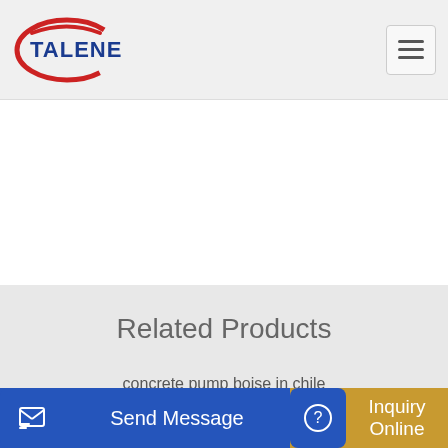[Figure (logo): Talenet company logo with red ellipse and blue text 'TALENET']
Related Products
concrete pump boise in chile
30m3 h Concrete Pump-PRODUCT-Concrete Mixer Concrete
Send Message
Inquiry Online